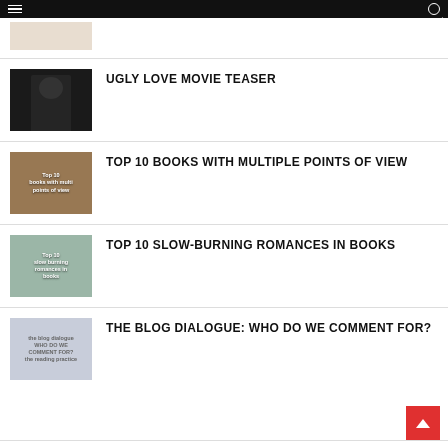navigation bar
UGLY LOVE MOVIE TEASER
TOP 10 BOOKS WITH MULTIPLE POINTS OF VIEW
TOP 10 SLOW-BURNING ROMANCES IN BOOKS
THE BLOG DIALOGUE: WHO DO WE COMMENT FOR?